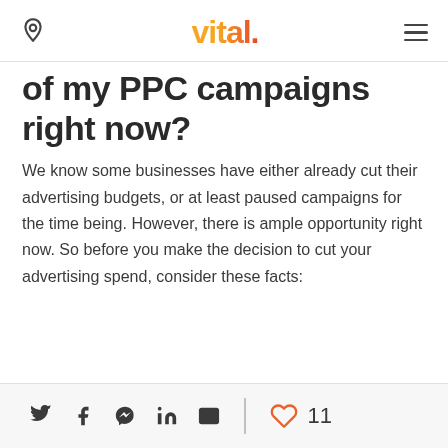vital.
of my PPC campaigns right now?
We know some businesses have either already cut their advertising budgets, or at least paused campaigns for the time being. However, there is ample opportunity right now. So before you make the decision to cut your advertising spend, consider these facts:
Social share icons: Twitter, Facebook, Messenger, LinkedIn, Email | 11 likes